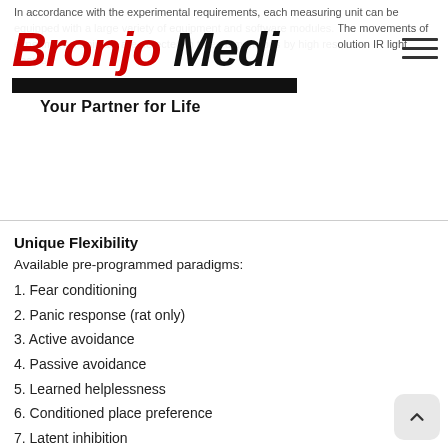In accordance with the experimental requirements, each measuring unit can be equipped with a large variety of equipment and software modules. The movements of experimental animals are detected in three dimensions by high resolution IR light beams.
[Figure (logo): Bronjo Medi logo with tagline 'Your Partner for Life' and black bar, with hamburger menu icon]
Unique Flexibility
Available pre-programmed paradigms:
1. Fear conditioning
2. Panic response (rat only)
3. Active avoidance
4. Passive avoidance
5. Learned helplessness
6. Conditioned place preference
7. Latent inhibition
8. Light-dark test
9. Open field test (locomotor activity)